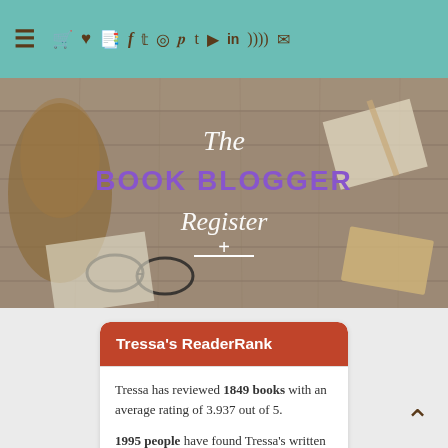Navigation bar with hamburger menu and social/action icons
[Figure (illustration): The Book Blogger Register banner — wooden desk background with glasses, pinecone, paper, pencil, and card. White italic 'The', purple bold 'BOOK BLOGGER', white italic 'Register', white cross/divider below.]
Tressa's ReaderRank
Tressa has reviewed 1849 books with an average rating of 3.937 out of 5.
1995 people have found Tressa's written reviews to be helpful on Goodreads.
See more...